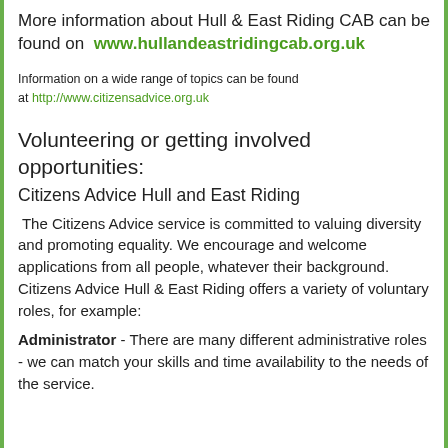More information about Hull & East Riding CAB can be found on www.hullandeastridingcab.org.uk
Information on a wide range of topics can be found at http://www.citizensadvice.org.uk
Volunteering or getting involved opportunities:
Citizens Advice Hull and East Riding
The Citizens Advice service is committed to valuing diversity and promoting equality. We encourage and welcome applications from all people, whatever their background. Citizens Advice Hull & East Riding offers a variety of voluntary roles, for example:
Administrator - There are many different administrative roles - we can match your skills and time availability to the needs of the service.